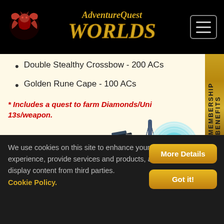AdventureQuest Worlds
Double Stealthy Crossbow - 200 ACs
Golden Rune Cape - 100 ACs
* Includes a quest to farm Diamonds/Uni 13s/weapon.
[Figure (illustration): Game items: a crossbow weapon, a spear/lance weapon, a cyan arrow-head, red twin blades/scissors, and two circular rune/shield decorations in cyan and green tones on a cream background.]
We use cookies on this site to enhance your experience, provide services and products, and display content from third parties. Cookie Policy.